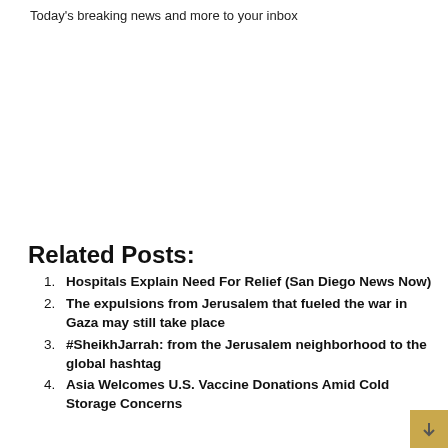Today's breaking news and more to your inbox
Related Posts:
Hospitals Explain Need For Relief (San Diego News Now)
The expulsions from Jerusalem that fueled the war in Gaza may still take place
#SheikhJarrah: from the Jerusalem neighborhood to the global hashtag
Asia Welcomes U.S. Vaccine Donations Amid Cold Storage Concerns